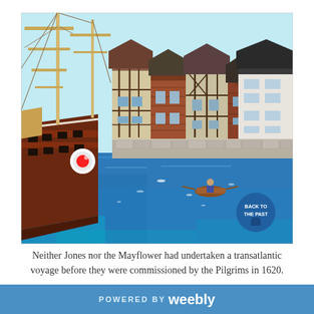[Figure (photo): A LEGO diorama depicting a tall sailing ship (resembling the Mayflower) docked near a harbor with Tudor-style brick buildings and a white house. Blue water made of LEGO bricks is in the foreground with a small rowboat. A circular 'Back to the Past' logo appears in the lower right corner of the image.]
Neither Jones nor the Mayflower had undertaken a transatlantic voyage before they were commissioned by the Pilgrims in 1620.
The Mayflower remained in Plymouth Harbor throughout the winter and then on April 5th with
POWERED BY weebly